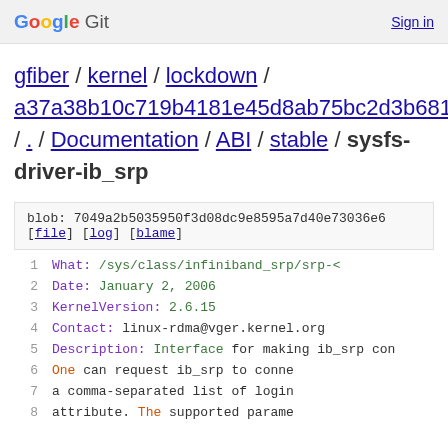Google Git  Sign in
gfiber / kernel / lockdown / a37a38b10c719b4181e45d8ab75bc2d3b681a63d / . / Documentation / ABI / stable / sysfs-driver-ib_srp
blob: 7049a2b5035950f3d08dc9e8595a7d40e73036e6
[file] [log] [blame]
1  What:         /sys/class/infiniband_srp/srp-<
2  Date:         January 2, 2006
3  KernelVersion: 2.6.15
4  Contact:      linux-rdma@vger.kernel.org
5  Description:  Interface for making ib_srp con
6                One can request ib_srp to conne
7                a comma-separated list of login
8                attribute. The supported parame